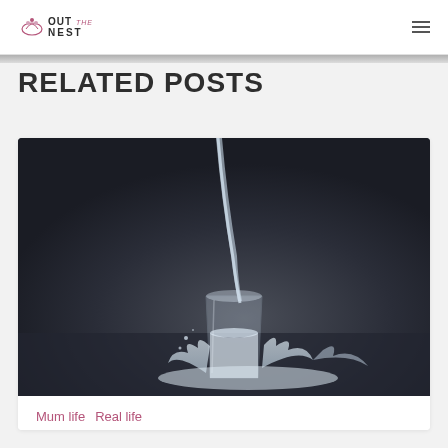OUT THE NEST
RELATED POSTS
[Figure (photo): A dark moody photograph of milk being poured into a glass, with milk splashing around the base on a dark background]
Mum life   Real life